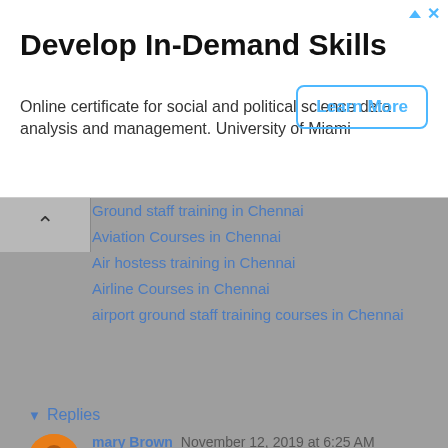[Figure (other): Advertisement banner: 'Develop In-Demand Skills' with Learn More button. Online certificate for social and political science data analysis and management. University of Miami]
Ground staff training in Chennai
Aviation Courses in Chennai
Air hostess training in Chennai
Airline Courses in Chennai
airport ground staff training courses in Chennai
Reply
Replies
mary Brown  November 12, 2019 at 6:25 AM
A IEEE project Domain is an interrelated arrangement of exercises, having a positive beginning and end point and bringing about an interesting result in Engineering Colleges for a particular asset assignment working under a triple limitation - time, cost and execution. Final Year Project Domains for CSE In Engineering